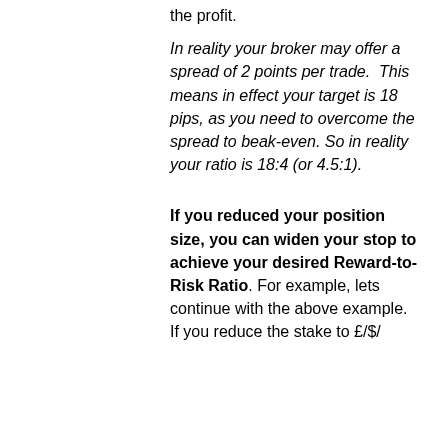the profit.
In reality your broker may offer a spread of 2 points per trade. This means in effect your target is 18 pips, as you need to overcome the spread to beak-even. So in reality your ratio is 18:4 (or 4.5:1).
If you reduced your position size, you can widen your stop to achieve your desired Reward-to-Risk Ratio. For example, lets continue with the above example. If you reduce the stake to £/$/